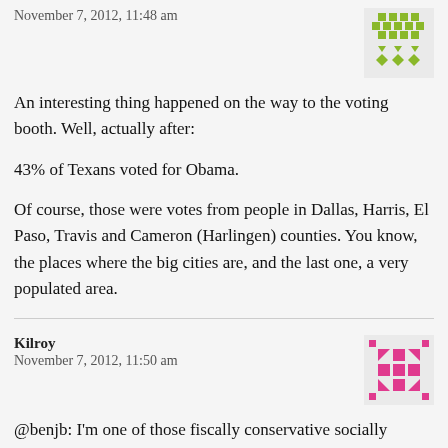November 7, 2012, 11:48 am
[Figure (illustration): Green geometric avatar icon with diamond and triangle pattern]
An interesting thing happened on the way to the voting booth. Well, actually after:
43% of Texans voted for Obama.
Of course, those were votes from people in Dallas, Harris, El Paso, Travis and Cameron (Harlingen) counties. You know, the places where the big cities are, and the last one, a very populated area.
Kilroy
November 7, 2012, 11:50 am
[Figure (illustration): Pink/magenta geometric avatar icon with star-like pattern]
@benjb: I'm one of those fiscally conservative socially liberal voters that probably makes up a